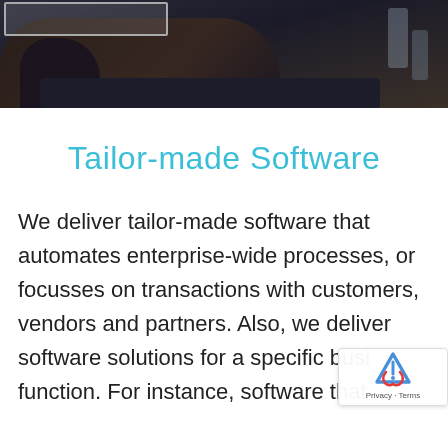[Figure (photo): Dark photo of a hand near a keyboard on a desk, with a glass object visible in the upper right. Navigation box visible in top left corner.]
Tailor-made Software
We deliver tailor-made software that automates enterprise-wide processes, or focusses on transactions with customers, vendors and partners. Also, we deliver software solutions for a specific business function. For instance, software that